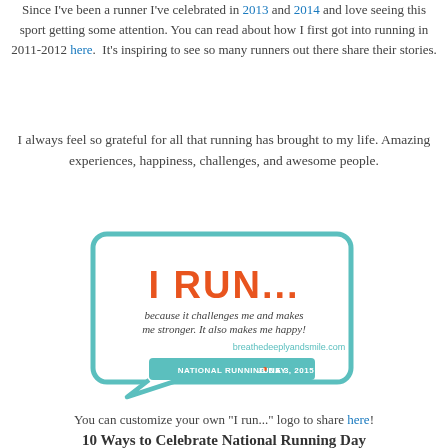Since I've been a runner I've celebrated in 2013 and 2014 and love seeing this sport getting some attention. You can read about how I first got into running in 2011-2012 here.  It's inspiring to see so many runners out there share their stories.
I always feel so grateful for all that running has brought to my life. Amazing experiences, happiness, challenges, and awesome people.
[Figure (illustration): Speech bubble graphic with teal border on white background. Large orange bold text reads 'I RUN...' with three orange dots. Below in dark italic script: 'because it challenges me and makes me stronger. It also makes me happy!' Website URL 'breathedeeplyandsmile.com' in teal. Teal banner at bottom reads 'NATIONAL RUNNING DAY • JUNE 3, 2015' in white text.]
You can customize your own "I run..." logo to share here!
10 Ways to Celebrate National Running Day